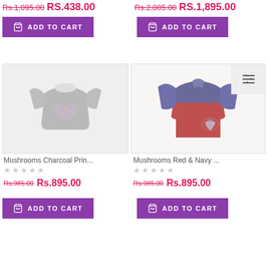Rs.1,095.00 RS.438.00
Rs.2,085.00 RS.1,895.00
[Figure (other): Add to Cart button (purple) left]
[Figure (other): Add to Cart button (purple) right]
[Figure (photo): Mushrooms Charcoal Print children's t-shirt, grey with colorful graphic print]
[Figure (photo): Mushrooms Red & Navy children's polo shirt, red body with navy sleeves and collar]
Mushrooms Charcoal Prin...
Mushrooms Red & Navy ...
Rs.985.00 Rs.895.00
Rs.985.00 Rs.895.00
[Figure (other): Add to Cart button (purple) bottom left]
[Figure (other): Add to Cart button (purple) bottom right]